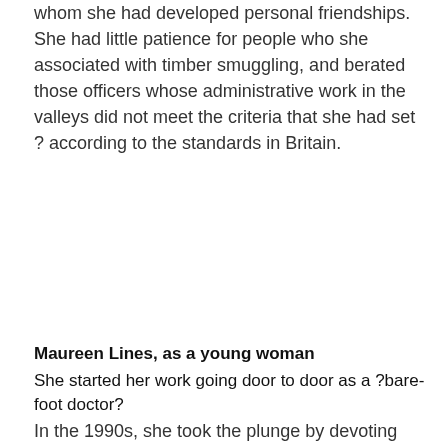whom she had developed personal friendships. She had little patience for people who she associated with timber smuggling, and berated those officers whose administrative work in the valleys did not meet the criteria that she had set ? according to the standards in Britain.
Maureen Lines, as a young woman
She started her work going door to door as a ?bare-foot doctor?
In the 1990s, she took the plunge by devoting herself